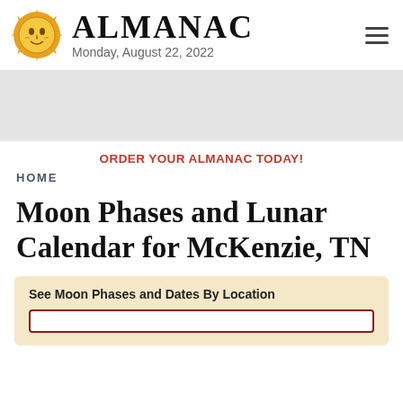ALMANAC — Monday, August 22, 2022
[Figure (logo): Almanac sun face logo — circular sun with a human face in the center]
ORDER YOUR ALMANAC TODAY!
HOME
Moon Phases and Lunar Calendar for McKenzie, TN
See Moon Phases and Dates By Location